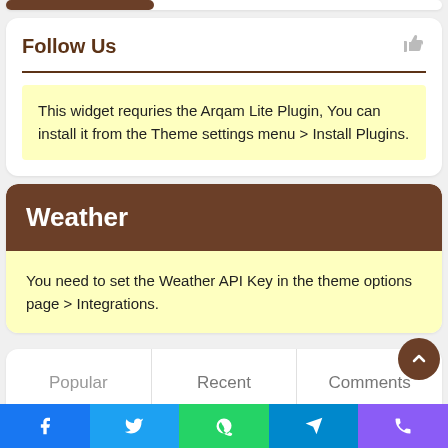Follow Us
This widget requries the Arqam Lite Plugin, You can install it from the Theme settings menu > Install Plugins.
Weather
You need to set the Weather API Key in the theme options page > Integrations.
Popular	Recent	Comments
Facebook | Twitter | WhatsApp | Telegram | Viber